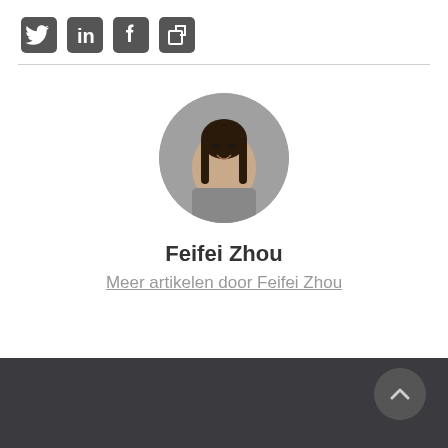[Figure (illustration): Social media icons: Twitter bird, LinkedIn 'in', Facebook 'f', and a copy/share square icon, displayed as dark grey icon buttons]
[Figure (photo): Circular profile photo of Feifei Zhou, a young Asian woman with long dark hair, wearing a grey top, smiling slightly, with a blurred indoor background]
Feifei Zhou
Meer artikelen door Feifei Zhou
[Figure (illustration): Dark footer bar at the bottom of the page with a circular scroll-to-top button containing an upward chevron arrow on the right side]